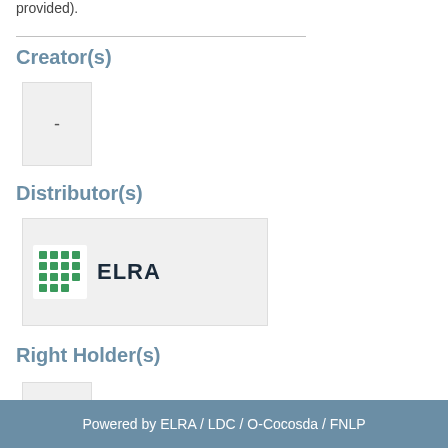provided).
Creator(s)
[Figure (other): A small grey placeholder box with a dash '-' representing a creator entry]
Distributor(s)
[Figure (logo): ELRA logo: green grid icon followed by bold text 'ELRA' on a light grey card]
Right Holder(s)
[Figure (other): A small grey placeholder box with a dash '-' representing a right holder entry]
Powered by ELRA / LDC / O-Cocosda / FNLP